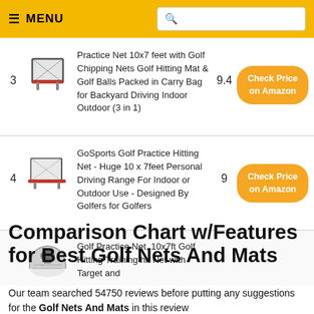MENU
| # | Image | Product | Score | Action |
| --- | --- | --- | --- | --- |
| 3 | [image] | Practice Net 10x7 feet with Golf Chipping Nets Golf Hitting Mat & Golf Balls Packed in Carry Bag for Backyard Driving Indoor Outdoor (3 in 1) | 9.4 | Check Price on Amazon |
| 4 | [image] | GoSports Golf Practice Hitting Net - Huge 10 x 7feet Personal Driving Range For Indoor or Outdoor Use - Designed By Golfers for Golfers | 9 | Check Price on Amazon |
| 5 | [image] | Golf Practice Net, 10x7ft Golf Hitting Training... |  |  |
Comparison Chart w/Features for Best Golf Nets And Mats
Our team searched 54750 reviews before putting any suggestions for the Golf Nets And Mats in this review